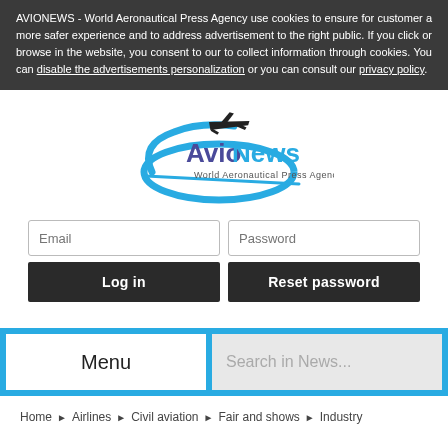AVIONEWS - World Aeronautical Press Agency use cookies to ensure for customer a more safer experience and to address advertisement to the right public. If you click or browse in the website, you consent to our to collect information through cookies. You can disable the advertisements personalization or you can consult our privacy policy.
[Figure (logo): AvioNews World Aeronautical Press Agency logo with airplane silhouette and blue swoosh]
Email
Password
Log in
Reset password
Menu
Search in News...
Home ► Airlines ► Civil aviation ► Fair and shows ► Industry